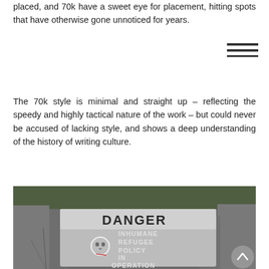placed, and 70k have a sweet eye for placement, hitting spots that have otherwise gone unnoticed for years.
The 70k style is minimal and straight up – reflecting the speedy and highly tactical nature of the work – but could never be accused of lacking style, and shows a deep understanding of the history of writing culture.
[Figure (photo): Street-level photograph of a stencil graffiti on stone pavement reading 'DANGER / INHUMANE REFUGEE POLICY IN OPERATION' with a skull graphic, spray-painted in white.]